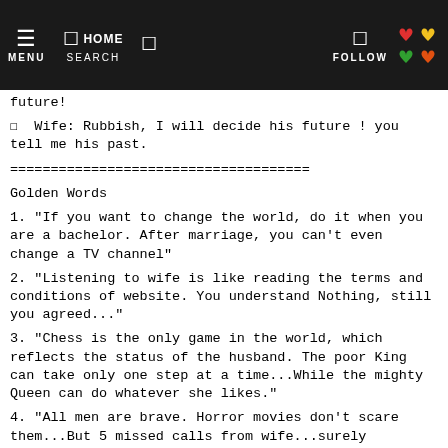≡  HOME   MENU   SEARCH   FOLLOW
future!
❑  Wife: Rubbish, I will decide his future ! you tell me his past.
=====================================
Golden Words
1. "If you want to change the world, do it when you are a bachelor. After marriage, you can't even change a TV channel"
2. "Listening to wife is like reading the terms and conditions of website. You understand Nothing, still you agreed..."
3. "Chess is the only game in the world, which reflects the status of the husband. The poor King can take only one step at a time...While the mighty Queen can do whatever she likes."
4. "All men are brave. Horror movies don't scare them...But 5 missed calls from wife...surely dead..."